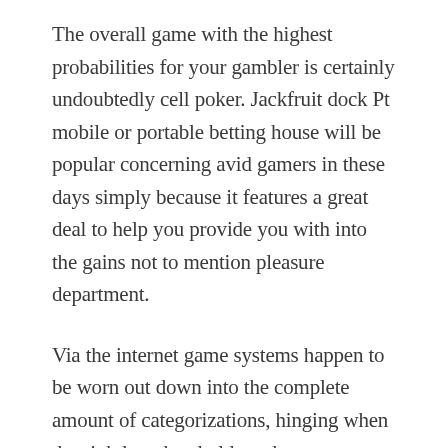The overall game with the highest probabilities for your gambler is certainly undoubtedly cell poker. Jackfruit dock Pt mobile or portable betting house will be popular concerning avid gamers in these days simply because it features a great deal to help you provide you with into the gains not to mention pleasure department.
Via the internet game systems happen to be worn out down into the complete amount of categorizations, hinging when the sightless thresholds and even payouts desired typically. It is often recognized which the number of folks eliminate placing your current bank up on the internets on-line casinos activity titles.